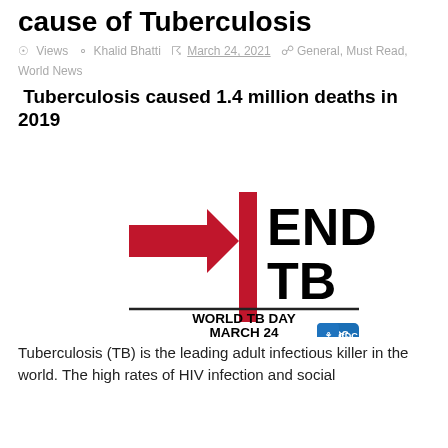cause of Tuberculosis
Views  Khalid Bhatti  March 24, 2021   General, Must Read, World News
Tuberculosis caused 1.4 million deaths in 2019
[Figure (logo): END TB logo with a red arrow pointing to a red vertical bar, with bold text 'END TB', a horizontal line below, and text 'WORLD TB DAY MARCH 24' with a CDC logo badge in the lower right.]
Tuberculosis (TB) is the leading adult infectious killer in the world. The high rates of HIV infection and social